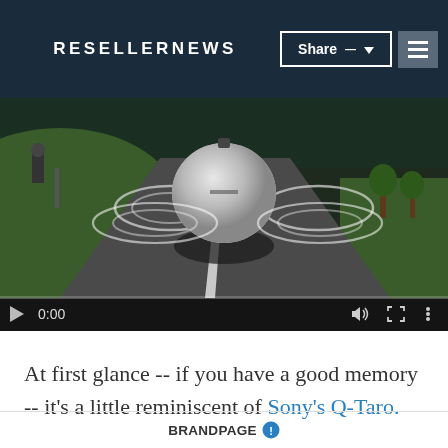RESELLERNEWS
[Figure (screenshot): Video screenshot showing a spherical robot/camera device on a road with circular markings, grass and trees in background. Video controls show 0:00 timestamp.]
At first glance -- if you have a good memory -- it's a little reminiscent of Sony's Q-Taro.
BRANDPAGE